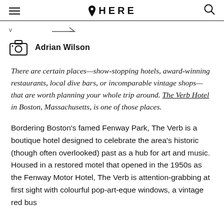HERE
v  [arrow icon]
Adrian Wilson
There are certain places—show-stopping hotels, award-winning restaurants, local dive bars, or incomparable vintage shops—that are worth planning your whole trip around. The Verb Hotel in Boston, Massachusetts, is one of those places.
Bordering Boston's famed Fenway Park, The Verb is a boutique hotel designed to celebrate the area's historic (though often overlooked) past as a hub for art and music. Housed in a restored motel that opened in the 1950s as the Fenway Motor Hotel, The Verb is attention-grabbing at first sight with colourful pop-art-eque windows, a vintage red bus